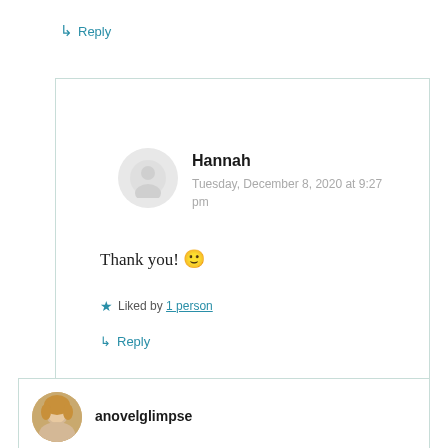↳ Reply
Hannah
Tuesday, December 8, 2020 at 9:27 pm
Thank you! 🙂
★ Liked by 1 person
↳ Reply
anovelglimpse